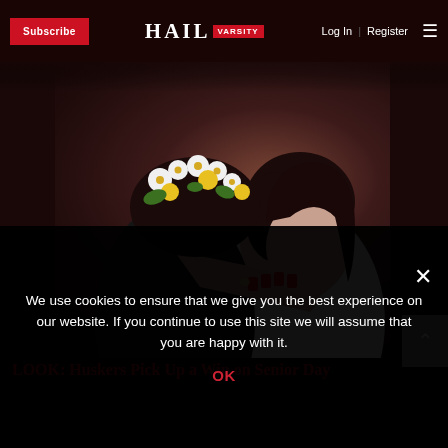Subscribe | HAIL VARSITY | Log In | Register
[Figure (photo): Two people hugging, one wearing a flower crown with white and yellow flowers, the other a woman with dark hair and red nails. Sports context, Nebraska Huskers.]
LOOK: Huskers Pick Up a Win on Senior Day
We use cookies to ensure that we give you the best experience on our website. If you continue to use this site we will assume that you are happy with it.
OK